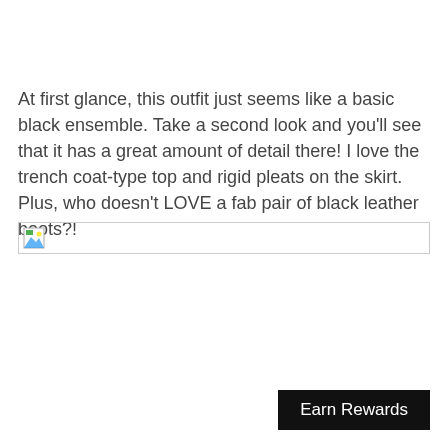At first glance, this outfit just seems like a basic black ensemble. Take a second look and you'll see that it has a great amount of detail there! I love the trench coat-type top and rigid pleats on the skirt. Plus, who doesn't LOVE a fab pair of black leather boots?!
[Figure (photo): Broken image placeholder with small icon, spanning the width of the content area]
Earn Rewards